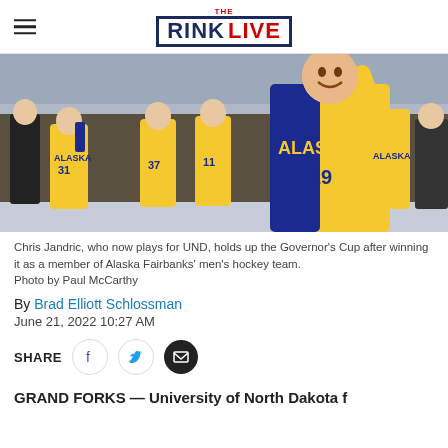THE RINK LIVE
[Figure (photo): Hockey players in yellow and blue Alaska jerseys celebrating on ice, with one player (Chris Jandric, #29) holding up the Governor's Cup and cheering.]
Chris Jandric, who now plays for UND, holds up the Governor's Cup after winning it as a member of Alaska Fairbanks' men's hockey team.
Photo by Paul McCarthy
By Brad Elliott Schlossman
June 21, 2022 10:27 AM
SHARE
GRAND FORKS — University of North Dakota f